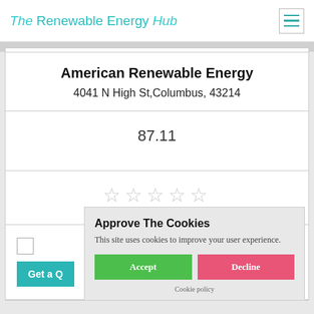The Renewable Energy Hub
American Renewable Energy
4041 N High St,Columbus, 43214
87.11
[Figure (other): Five empty star rating icons in light gray]
Get a Q...
Approve The Cookies
This site uses cookies to improve your user experience.
Accept
Decline
Cookie policy